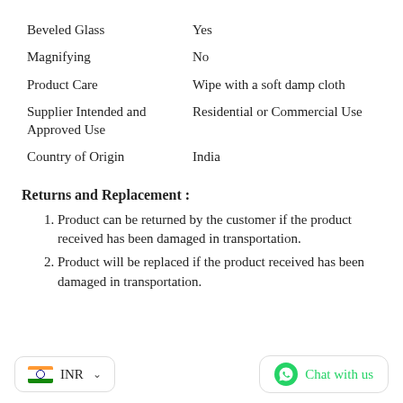| Attribute | Value |
| --- | --- |
| Beveled Glass | Yes |
| Magnifying | No |
| Product Care | Wipe with a soft damp cloth |
| Supplier Intended and Approved Use | Residential or Commercial Use |
| Country of Origin | India |
Returns and Replacement :
Product can be returned by the customer if the product received has been damaged in transportation.
Product will be replaced if the product received has been damaged in transportation.
INR  Chat with us